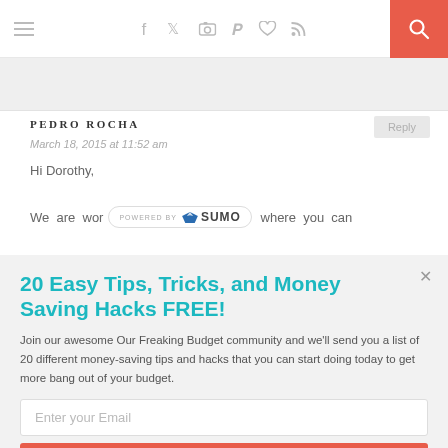Navigation bar with hamburger menu, social icons (facebook, twitter, instagram, pinterest, heart, rss), and search button
PEDRO ROCHA
March 18, 2015 at 11:52 am
Hi Dorothy,
We are wor [POWERED BY SUMO] where you can
20 Easy Tips, Tricks, and Money Saving Hacks FREE!
Join our awesome Our Freaking Budget community and we'll send you a list of 20 different money-saving tips and hacks that you can start doing today to get more bang out of your budget.
Enter your Email
Sign Me Up!